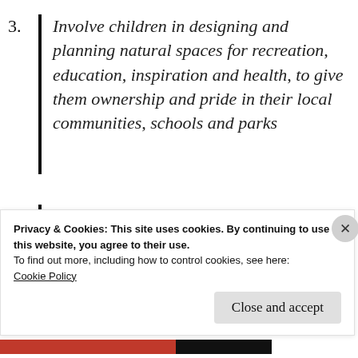3. Involve children in designing and planning natural spaces for recreation, education, inspiration and health, to give them ownership and pride in their local communities, schools and parks
4. Build curiosity, wonder, and care for nature in children (for example by greening school grounds and
Privacy & Cookies: This site uses cookies. By continuing to use this website, you agree to their use.
To find out more, including how to control cookies, see here:
Cookie Policy
Close and accept